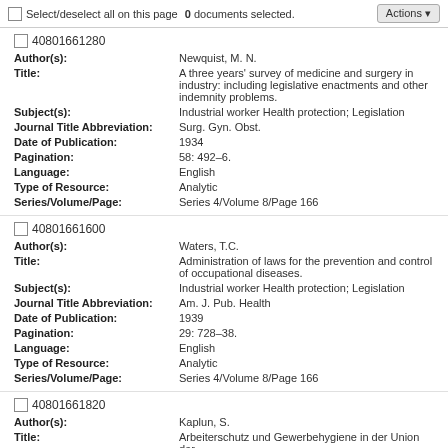Select/deselect all on this page  0 documents selected.  Actions
40801661280 | Author(s): Newquist, M. N. | Title: A three years' survey of medicine and surgery in industry: including legislative enactments and other indemnity problems. | Subject(s): Industrial worker Health protection; Legislation | Journal Title Abbreviation: Surg. Gyn. Obst. | Date of Publication: 1934 | Pagination: 58: 492-6. | Language: English | Type of Resource: Analytic | Series/Volume/Page: Series 4/Volume 8/Page 166
40801661600 | Author(s): Waters, T.C. | Title: Administration of laws for the prevention and control of occupational diseases. | Subject(s): Industrial worker Health protection; Legislation | Journal Title Abbreviation: Am. J. Pub. Health | Date of Publication: 1939 | Pagination: 29: 728-38. | Language: English | Type of Resource: Analytic | Series/Volume/Page: Series 4/Volume 8/Page 166
40801661820 | Author(s): Kaplun, S. | Title: Arbeiterschutz und Gewerbehygiene in der Union der